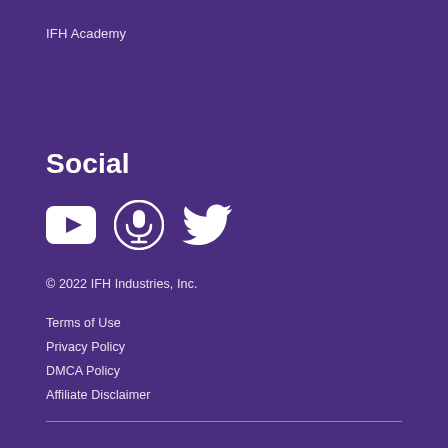IFH Academy
Social
[Figure (illustration): Three social media icons: YouTube play button (rounded square), Podcast microphone icon (circle), and Twitter bird icon]
© 2022 IFH Industries, Inc.
Terms of Use
Privacy Policy
DMCA Policy
Affiliate Disclaimer